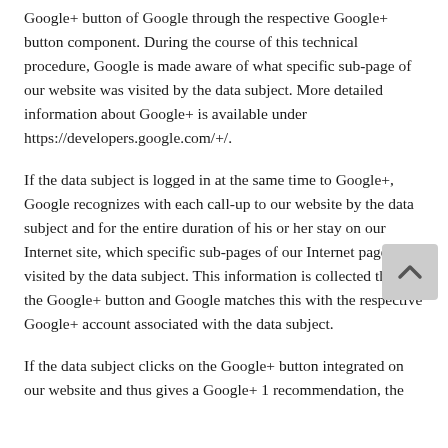Google+ button of Google through the respective Google+ button component. During the course of this technical procedure, Google is made aware of what specific sub-page of our website was visited by the data subject. More detailed information about Google+ is available under https://developers.google.com/+/.
If the data subject is logged in at the same time to Google+, Google recognizes with each call-up to our website by the data subject and for the entire duration of his or her stay on our Internet site, which specific sub-pages of our Internet page were visited by the data subject. This information is collected through the Google+ button and Google matches this with the respective Google+ account associated with the data subject.
If the data subject clicks on the Google+ button integrated on our website and thus gives a Google+ 1 recommendation, the